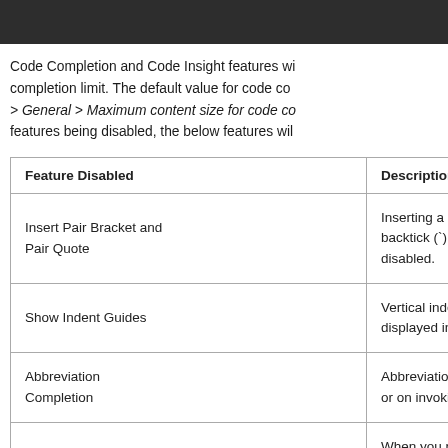Explore Projects
Code Completion and Code Insight features will be affected once the file exceeds the code completion limit. The default value for code completion is set in Settings > General > Maximum content size for code completion. Instead of these features being disabled, the below features will be affected:
| Feature Disabled | Description |
| --- | --- |
| Insert Pair Bracket and Pair Quote | Inserting a matching backtick (`), round bracket, and other pairs will be disabled. |
| Show Indent Guides | Vertical indent guides will not be displayed in the right margin. |
| Abbreviation Completion | Abbreviation completion triggered by Space or on invoking the "..." |
| Rich Copy | When you paste data into another editor, syntax highlighting will not be applied. |
| Highlight Matching Brackets | Highlighting for matching brackets will be disabled. |
| Manual Code Folding | Manual creation of code folding ranges is not functional. When the... |